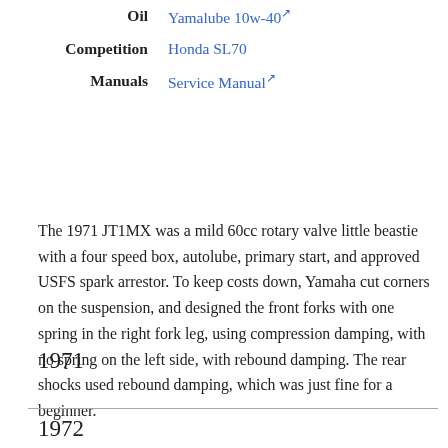| Label | Value |
| --- | --- |
| Oil | Yamalube 10w-40 ↗ |
| Competition | Honda SL70 |
| Manuals | Service Manual ↗ |
The 1971 JT1MX was a mild 60cc rotary valve little beastie with a four speed box, autolube, primary start, and approved USFS spark arrestor. To keep costs down, Yamaha cut corners on the suspension, and designed the front forks with one spring in the right fork leg, using compression damping, with no spring on the left side, with rebound damping. The rear shocks used rebound damping, which was just fine for a beginner.
1971
1972